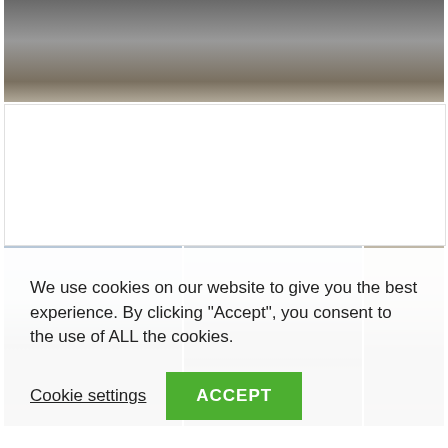[Figure (photo): Top portion of a dark-colored car, cropped — shows the upper body and roof of a dark vehicle on a road surface]
[Figure (photo): White/blank advertisement or content box placeholder]
[Figure (photo): Three thumbnail photos of a black Audi R8 sports car in an outdoor setting with trees and buildings in the background: front-left view, rear-right view, and partial side view]
We use cookies on our website to give you the best experience. By clicking “Accept”, you consent to the use of ALL the cookies.
Cookie settings
ACCEPT